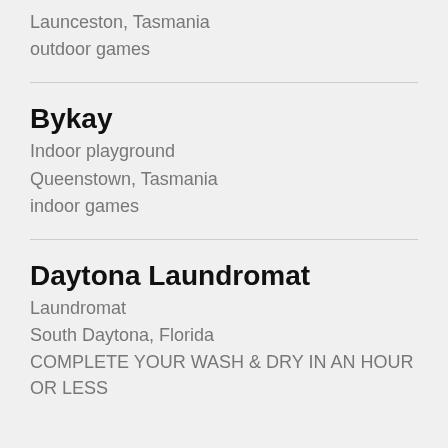Launceston, Tasmania
outdoor games
Bykay
Indoor playground
Queenstown, Tasmania
indoor games
Daytona Laundromat
Laundromat
South Daytona, Florida
COMPLETE YOUR WASH & DRY IN AN HOUR OR LESS